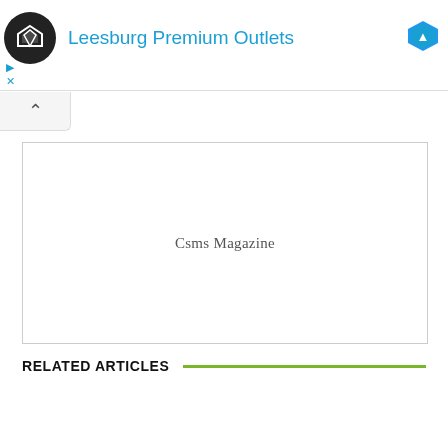[Figure (screenshot): Advertisement banner for Leesburg Premium Outlets with circular black logo with diamond shape, cyan/blue title text, and a blue diamond icon on the right. Below the banner are play and close controls in cyan.]
Csms Magazine
RELATED ARTICLES